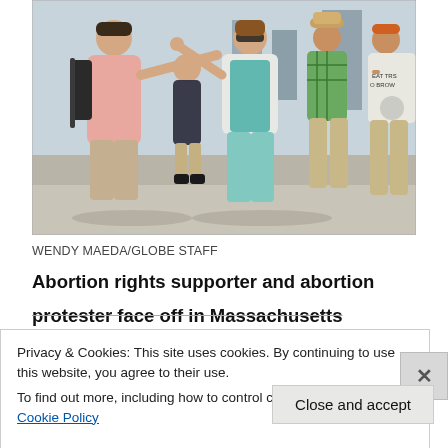[Figure (photo): Outdoor scene showing several people on a sidewalk appearing to argue or confront each other. A man in a pink shirt points at a woman in a teal shirt and white jacket. Other people stand nearby. A person in a hat and a man in a white t-shirt are visible in the background.]
WENDY MAEDA/GLOBE STAFF
Abortion rights supporter and abortion protester face off in Massachusetts
Privacy & Cookies: This site uses cookies. By continuing to use this website, you agree to their use.
To find out more, including how to control cookies, see here: Cookie Policy
Close and accept
in less than a week